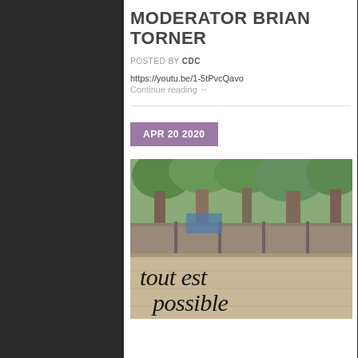MODERATOR  BRIAN TORNER
POSTED BY CDC
https://youtu.be/1-5tPvcQavo
Continue reading →
APR 20 2020
[Figure (photo): Outdoor photo showing trees and a concrete wall/fence with graffiti text 'tout est possible' written in black cursive lettering]